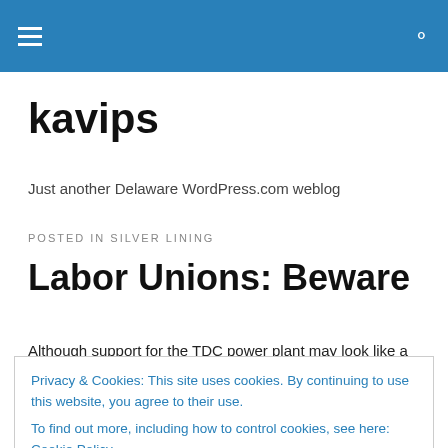kavips
Just another Delaware WordPress.com weblog
POSTED IN SILVER LINING
Labor Unions: Beware
Although support for the TDC power plant may look like a
Privacy & Cookies: This site uses cookies. By continuing to use this website, you agree to their use. To find out more, including how to control cookies, see here: Cookie Policy
Labor Unions will lose public support if this TDC center